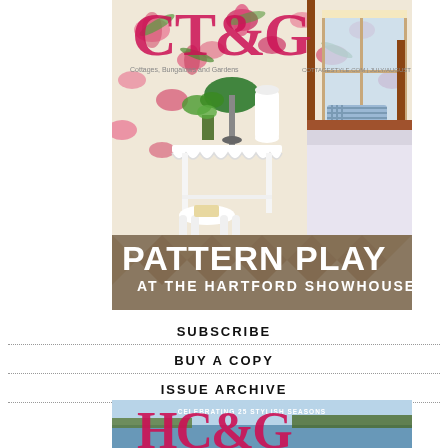[Figure (photo): Magazine cover of CT&G (Cottages, Bungalows and Gardens) featuring a bedroom with floral wallpaper, a white decorative side table, a wood four-poster bed, and text reading PATTERN PLAY AT THE HARTFORD SHOWHOUSE]
SUBSCRIBE
BUY A COPY
ISSUE ARCHIVE
[Figure (photo): Partial view of a second HC&G magazine cover featuring a waterfront scene and text CELEBRATING 25 STYLISH SEASONS]